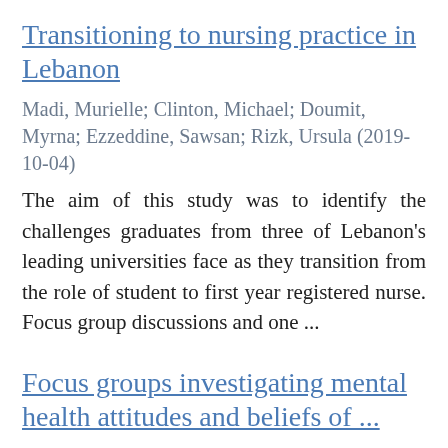Transitioning to nursing practice in Lebanon
Madi, Murielle; Clinton, Michael; Doumit, Myrna; Ezzeddine, Sawsan; Rizk, Ursula (2019-10-04)
The aim of this study was to identify the challenges graduates from three of Lebanon's leading universities face as they transition from the role of student to first year registered nurse. Focus group discussions and one ...
Focus groups investigating mental health attitudes and beliefs of ...